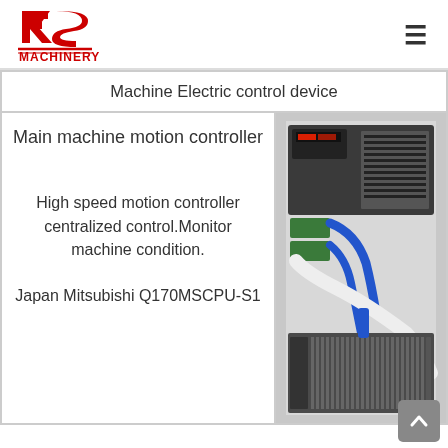[Figure (logo): RS Machinery red logo with stylized RS letters and MACHINERY text below]
| Machine Electric control device |
| --- |
| Main machine motion controller |  |
| High speed motion controller centralized control.Monitor machine condition.

Japan Mitsubishi Q170MSCPU-S1 | [photo of control device] |
[Figure (photo): Photo of Mitsubishi motion controller and electrical control components mounted in cabinet, with blue and white cables]